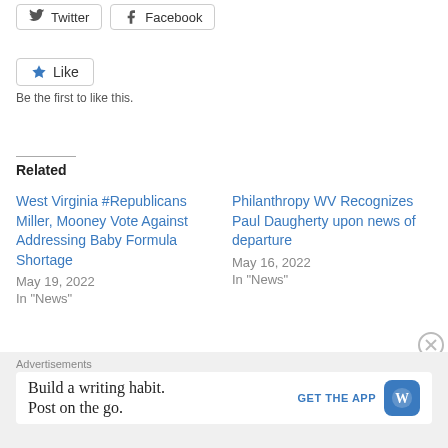[Figure (other): Social share buttons: Twitter and Facebook]
[Figure (other): Like button with star icon and 'Be the first to like this.' text]
Be the first to like this.
Related
West Virginia #Republicans Miller, Mooney Vote Against Addressing Baby Formula Shortage
May 19, 2022
In "News"
Philanthropy WV Recognizes Paul Daugherty upon news of departure
May 16, 2022
In "News"
West Virginia School of Osteopathic Medicine's Commencement Ceremony will
Advertisements
Build a writing habit. Post on the go.
GET THE APP